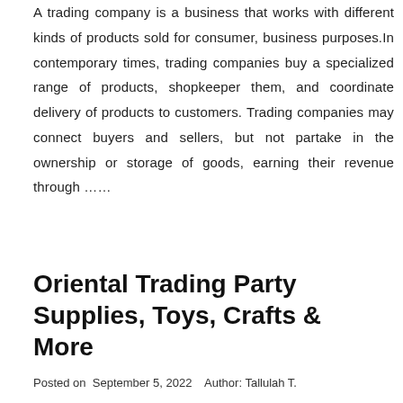A trading company is a business that works with different kinds of products sold for consumer, business purposes.In contemporary times, trading companies buy a specialized range of products, shopkeeper them, and coordinate delivery of products to customers. Trading companies may connect buyers and sellers, but not partake in the ownership or storage of goods, earning their revenue through ......
Oriental Trading Party Supplies, Toys, Crafts & More
Posted on  September 5, 2022    Author: Tallulah T.